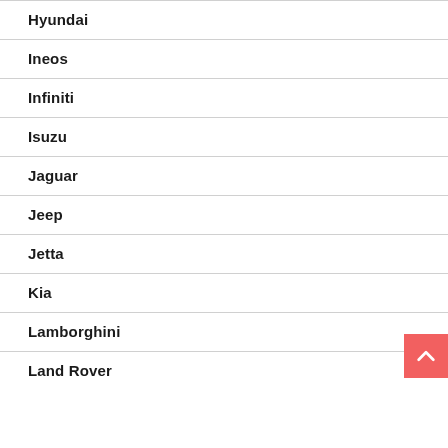Hyundai
Ineos
Infiniti
Isuzu
Jaguar
Jeep
Jetta
Kia
Lamborghini
Land Rover